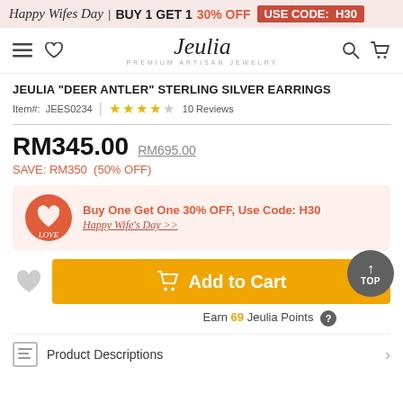Happy Wifes Day | BUY 1 GET 1  30% OFF  USE CODE: H30
[Figure (logo): Jeulia Premium Artisan Jewelry logo with navigation icons]
JEULIA "DEER ANTLER" STERLING SILVER EARRINGS
Item#: JEES0234  ★★★★☆  10 Reviews
RM345.00  RM695.00
SAVE: RM350  (50% OFF)
[Figure (infographic): Wife's Day promo banner: Buy One Get One 30% OFF, Use Code: H30, Happy Wife's Day >>]
Add to Cart
Earn 69 Jeulia Points ?
Product Descriptions